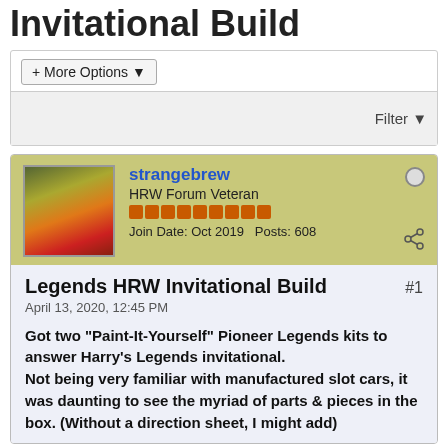Invitational Build
+ More Options ▾
Filter ▼
strangebrew
HRW Forum Veteran
Join Date: Oct 2019  Posts: 608
Legends HRW Invitational Build  #1
April 13, 2020, 12:45 PM
Got two "Paint-It-Yourself" Pioneer Legends kits to answer Harry's Legends invitational.
Not being very familiar with manufactured slot cars, it was daunting to see the myriad of parts & pieces in the box. (Without a direction sheet, I might add)